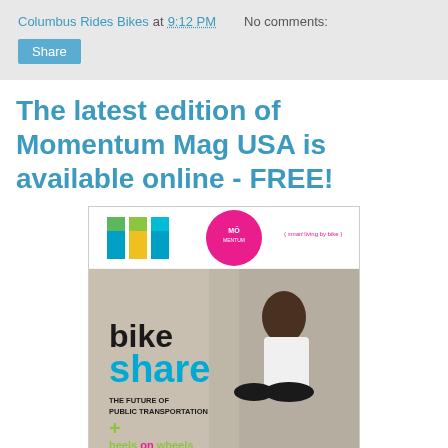Columbus Rides Bikes at 9:12 PM    No comments:
Share
The latest edition of Momentum Mag USA is available online - FREE!
[Figure (photo): Cover of Momentum Mag USA showing a woman riding a bicycle with text: bike share - THE FUTURE OF PUBLIC TRANSPORTATION + heels on wheels EXTENDED EDITION. Magazine logo at top with colorful M letters.]